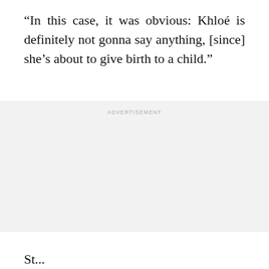“In this case, it was obvious: Khloé is definitely not gonna say anything, [since] she’s about to give birth to a child.”
[Figure (other): Advertisement placeholder box with light grey background and 'ADVERTISEMENT' label at top center]
St...